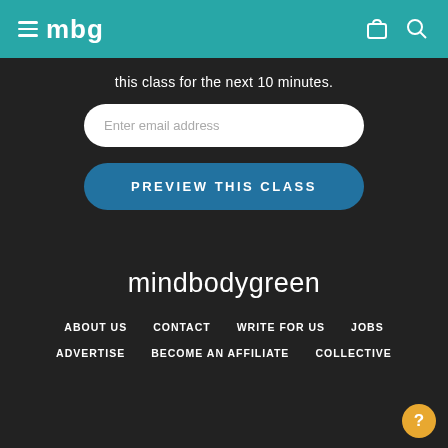mbg
this class for the next 10 minutes.
Enter email address
PREVIEW THIS CLASS
mindbodygreen
ABOUT US
CONTACT
WRITE FOR US
JOBS
ADVERTISE
BECOME AN AFFILIATE
COLLECTIVE